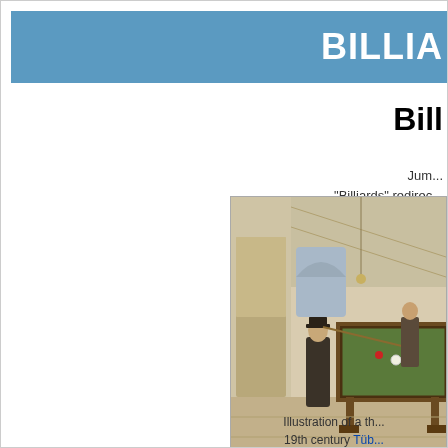BILLIA
Bill
Jump...
"Billiards" redirec...
[Figure (illustration): Illustration of a 19th century billiards room with people playing around a billiard table]
Illustration of a th... 19th century Tüb... longe...